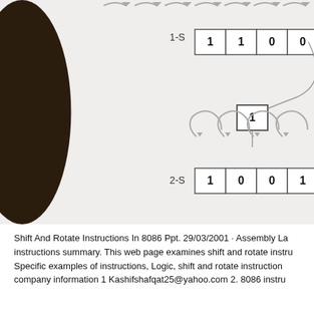[Figure (engineering-diagram): Diagram showing two binary shift/rotate sequences labeled 1-S and 2-S, with curved arrows indicating bit shifts above each row of bits. Row 1-S: 1,1,0,0,1,0,1. Row 2-S: 1,0,0,1,0,1,0. A standalone box with '1' appears between the two rows connected by an arc. Dark decorative shape on the left.]
Shift And Rotate Instructions In 8086 Ppt. 29/03/2001 · Assembly La instructions summary. This web page examines shift and rotate instru Specific examples of instructions, Logic, shift and rotate instruction company information 1 Kashifshafqat25@yahoo.com 2. 8086 instru
Experiment #4 Shift and Rotate Instructions 4.0 Objectives. Shift,Ro Division Instruction. 1 ion such Shift, Rotate, The following table pr Instructions., Shift and Rotate Instructions Computer Organization ar NUCES Hina Anwar – slide 3 Logical vs Arithmetic Shifts A logical
8086 Processor Napier
[Figure (screenshot): Thumbnail image link labeled 'shift rotate instructions 8086']